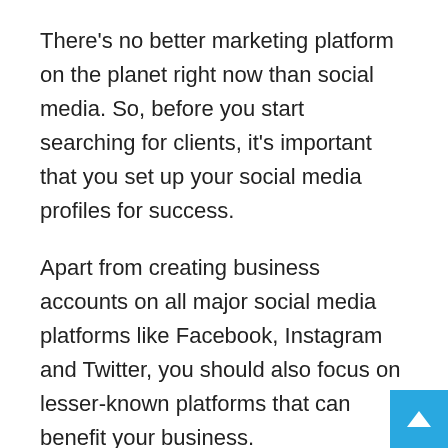There's no better marketing platform on the planet right now than social media. So, before you start searching for clients, it's important that you set up your social media profiles for success.
Apart from creating business accounts on all major social media platforms like Facebook, Instagram and Twitter, you should also focus on lesser-known platforms that can benefit your business.
During the account creation process on the respective platforms, make sure that you write accurate descriptions of your business. Keep the branding elements in mind during account creation, and make sure that they stay consistent across different platforms. Also, include the right keywords – this will help your business become more discoverable